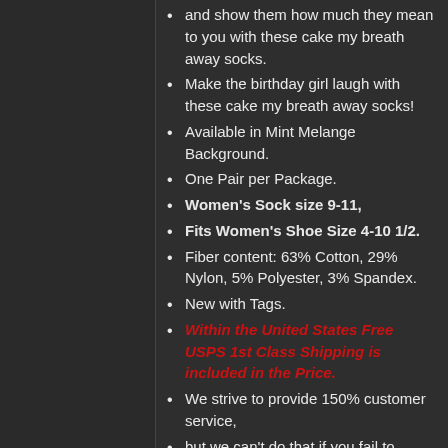and show them how much they mean to you with these cake my breath away socks.
Make the birthday girl laugh with these cake my breath away socks!
Available in Mint Melange Background.
One Pair per Package.
Women's Sock size 9-11,
Fits Women's Shoe Size 4-10 1/2.
Fiber content: 63% Cotton, 29% Nylon, 5% Polyester, 3% Spandex.
New with Tags.
Within the United States Free USPS 1st Class Shipping is included in the Price.
We strive to provide 150% customer service,
but we can't do that if you fail to inform us of a problem or issue.
Thanks and Have Great Day!